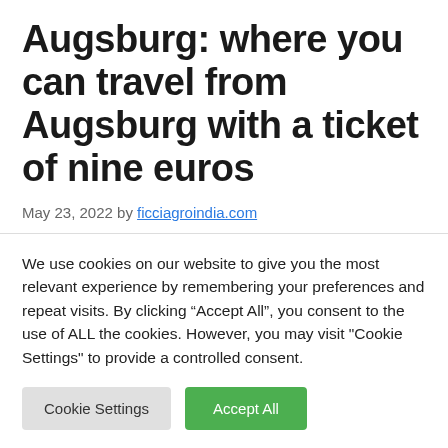Augsburg: where you can travel from Augsburg with a ticket of nine euros
May 23, 2022 by ficciagroindia.com
We use cookies on our website to give you the most relevant experience by remembering your preferences and repeat visits. By clicking “Accept All”, you consent to the use of ALL the cookies. However, you may visit "Cookie Settings" to provide a controlled consent.